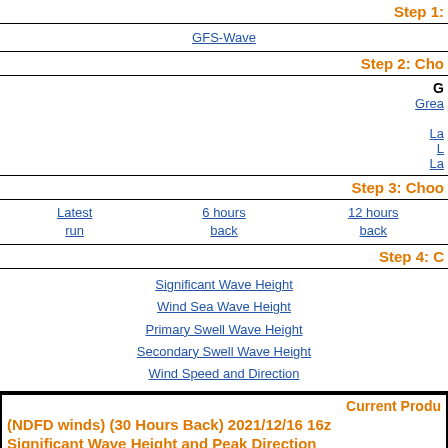Step 1:
GFS-Wave
Step 2: Cho
G
Grea
La
L
La
Step 3: Choo
Latest run
6 hours back
12 hours back
Step 4: C
Significant Wave Height
Wind Sea Wave Height
Primary Swell Wave Height
Secondary Swell Wave Height
Wind Speed and Direction
Current Produ
(NDFD winds) (30 Hours Back) 2021/12/16 16z Significant Wave Height and Peak Direction
The significant wave height is a measure for the wave height, and closely c
Note that the highest wave height of an individual wave will be significantly